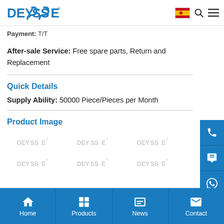DEYSSE® [logo header with flag, search, menu icons]
Payment: T/T
After-sale Service: Free spare parts, Return and Replacement
Quick Details
Supply Ability: 50000 Piece/Pieces per Month
Product Image
[Figure (logo): Grid of DEYSSE watermark logos in light gray]
Home | Products | News | Contact